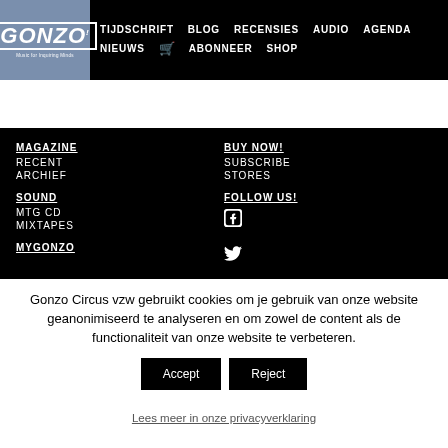TIJDSCHRIFT BLOG RECENSIES AUDIO AGENDA NIEUWS ABONNEER SHOP
[Figure (logo): Gonzo Circus logo — white text on blue-grey background with border]
MAGAZINE
RECENT
ARCHIEF
SOUND
MTG CD
MIXTAPES
MYGONZO
BUY NOW!
SUBSCRIBE
STORES
FOLLOW US!
Gonzo Circus vzw gebruikt cookies om je gebruik van onze website geanonimiseerd te analyseren en om zowel de content als de functionaliteit van onze website te verbeteren.
Accept | Reject
Lees meer in onze privacyverklaring